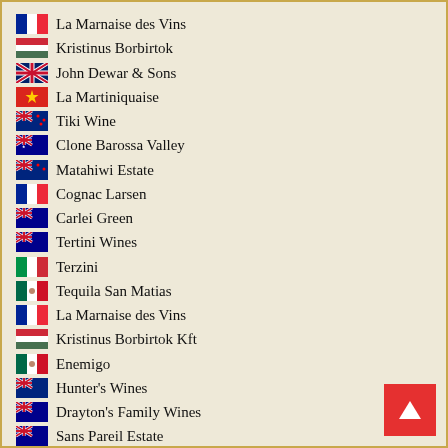La Marnaise des Vins
Kristinus Borbirtok
John Dewar & Sons
La Martiniquaise
Tiki Wine
Clone Barossa Valley
Matahiwi Estate
Cognac Larsen
Carlei Green
Tertini Wines
Terzini
Tequila San Matias
La Marnaise des Vins
Kristinus Borbirtok Kft
Enemigo
Hunter's Wines
Drayton's Family Wines
Sans Pareil Estate
Sa' Nice Australian Wines
Azienda Agricola La Scolca